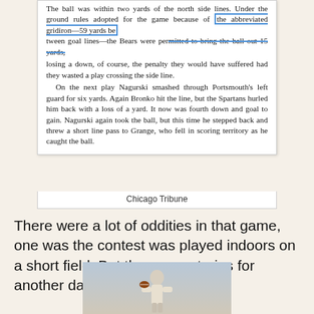[Figure (screenshot): Scanned newspaper clipping from the Chicago Tribune with blue highlight boxes and strikethrough annotations. Text describes Nagurski smashing through Portsmouth's left guard, eventually stepping back to throw a short line pass to Grange who fell in scoring territory.]
Chicago Tribune
There were a lot of oddities in that game, one was the contest was played indoors on a short field. But those are stories for another day.
[Figure (photo): Black and white photograph of a football player holding a ball above his head, wearing a white jersey.]